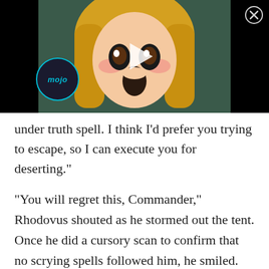[Figure (screenshot): Anime-style video thumbnail showing a blonde girl with a surprised expression, with a play button overlay and the WatchMojo logo visible. Black background surrounds the video frame. A close (X) button is in the top right corner.]
under truth spell. I think I’d prefer you trying to escape, so I can execute you for deserting.”
“You will regret this, Commander,” Rhodovus shouted as he stormed out the tent. Once he did a cursory scan to confirm that no scrying spells followed him, he smiled. Time’s up.